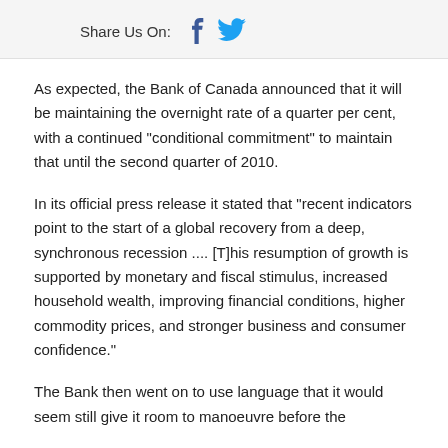Share Us On:
As expected, the Bank of Canada announced that it will be maintaining the overnight rate of a quarter per cent, with a continued "conditional commitment" to maintain that until the second quarter of 2010.
In its official press release it stated that "recent indicators point to the start of a global recovery from a deep, synchronous recession .... [T]his resumption of growth is supported by monetary and fiscal stimulus, increased household wealth, improving financial conditions, higher commodity prices, and stronger business and consumer confidence."
The Bank then went on to use language that it would seem still give it room to manoeuvre before the